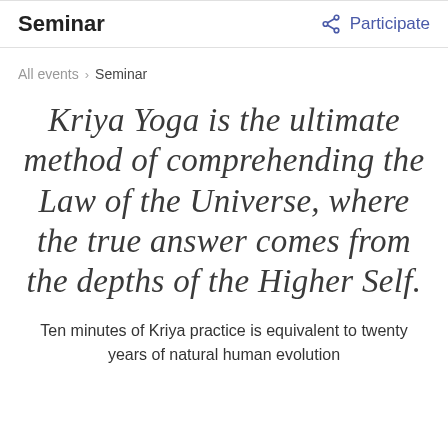Seminar
All events > Seminar
Kriya Yoga is the ultimate method of comprehending the Law of the Universe, where the true answer comes from the depths of the Higher Self.
Ten minutes of Kriya practice is equivalent to twenty years of natural human evolution